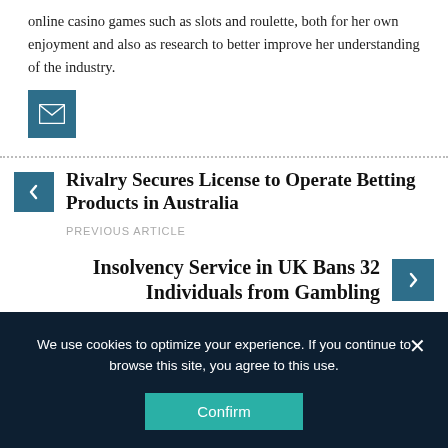online casino games such as slots and roulette, both for her own enjoyment and also as research to better improve her understanding of the industry.
[Figure (other): Email icon button — white envelope on teal/dark blue square background]
Rivalry Secures License to Operate Betting Products in Australia
PREVIOUS ARTICLE
Insolvency Service in UK Bans 32 Individuals from Gambling
NEXT ARTICLE
We use cookies to optimize your experience. If you continue to browse this site, you agree to this use.
Confirm